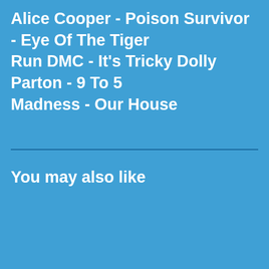Alice Cooper - Poison Survivor - Eye Of The Tiger Run DMC - It's Tricky Dolly Parton - 9 To 5 Madness - Our House
You may also like